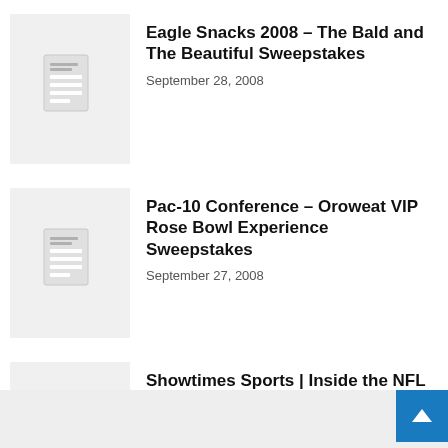Eagle Snacks 2008 – The Bald and The Beautiful Sweepstakes
September 28, 2008
Pac-10 Conference – Oroweat VIP Rose Bowl Experience Sweepstakes
September 27, 2008
Showtimes Sports | Inside the NFL – Ultimate Season Sweepstakes
September 27, 2008